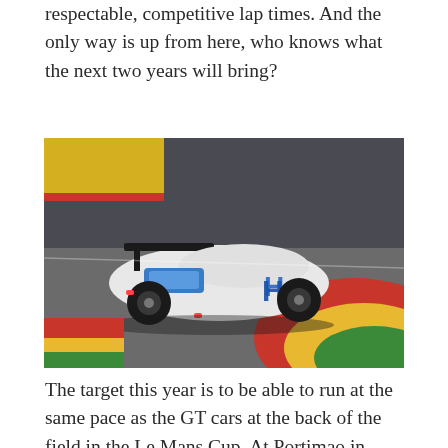respectable, competitive lap times. And the only way is up from here, who knows what the next two years will bring?
[Figure (photo): A white and blue LMP prototype racing car (with H2 hydrogen branding, number 4) photographed from behind/side angle on a racing circuit with colorful red, yellow, and green kerbs at Spa-Francorchamps or similar circuit.]
The target this year is to be able to run at the same pace as the GT cars at the back of the field in the Le Mans Cup. At Portimao in 2019 the first generation prototype was a few...